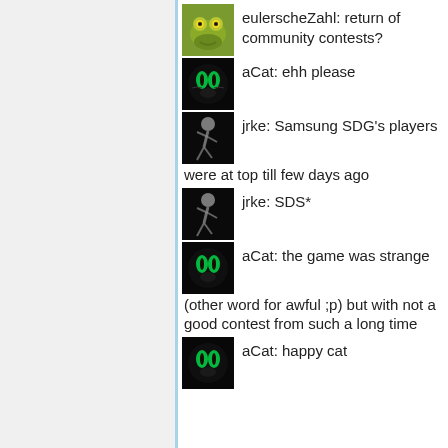eulerscheZahl: return of community contests?
aCat: ehh please
jrke: Samsung SDG's players were at top till few days ago
jrke: SDS*
aCat: the game was strange (other word for awful ;p) but with not a good contest from such a long time
aCat: happy cat